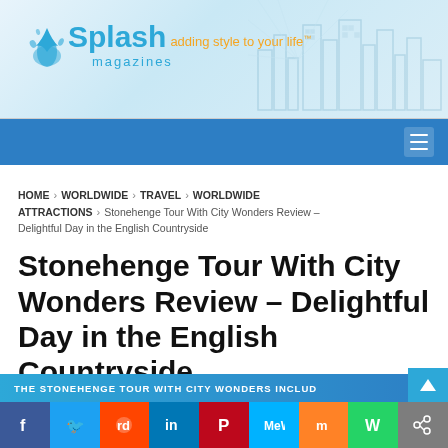[Figure (logo): Splash Magazines logo with tagline 'adding style to your life' and city skyline watermark background]
Navigation bar with hamburger menu
HOME > WORLDWIDE > TRAVEL > WORLDWIDE ATTRACTIONS > Stonehenge Tour With City Wonders Review – Delightful Day in the English Countryside
Stonehenge Tour With City Wonders Review – Delightful Day in the English Countryside
THE STONEHENGE TOUR WITH CITY WONDERS INCLUD...
[Figure (infographic): Social sharing bar with Facebook, Twitter, Reddit, LinkedIn, Pinterest, MeWe, Mix, WhatsApp, Share buttons]